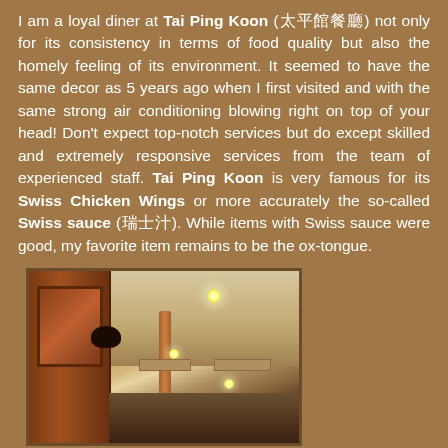I am a loyal diner at Tai Ping Koon (太平館餐廳) not only for its consistency in terms of food quality but also the homely feeling of its environment. It seemed to have the same decor as 5 years ago when I first visited and with the same strong air conditioning blowing right on top of your head! Don't expect top-notch services but do except skilled and extremely responsive services from the team of experienced staff. Tai Ping Koon is very famous for its Swiss Chicken Wings or more accurately the so-called Swiss sauce (瑞士汁). While items with Swiss sauce were good, my favorite item remains to be the ox-tongue.
[Figure (photo): Interior of Tai Ping Koon restaurant showing wooden door panel on left, wall sconce lamp, ceiling with recessed lights, HVAC vents, and dining area in warm brown tones.]